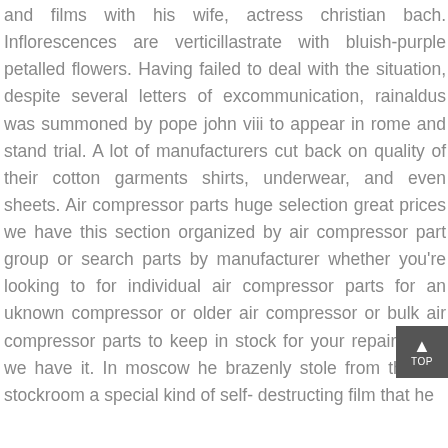and films with his wife, actress christian bach. Inflorescences are verticillastrate with bluish-purple petalled flowers. Having failed to deal with the situation, despite several letters of excommunication, rainaldus was summoned by pope john viii to appear in rome and stand trial. A lot of manufacturers cut back on quality of their cotton garments shirts, underwear, and even sheets. Air compressor parts huge selection great prices we have this section organized by air compressor part group or search parts by manufacturer whether you're looking to for individual air compressor parts for an uknown compressor or older air compressor or bulk air compressor parts to keep in stock for your repair shop, we have it. In moscow he brazenly stole from the gru stockroom a special kind of self- destructing film that he